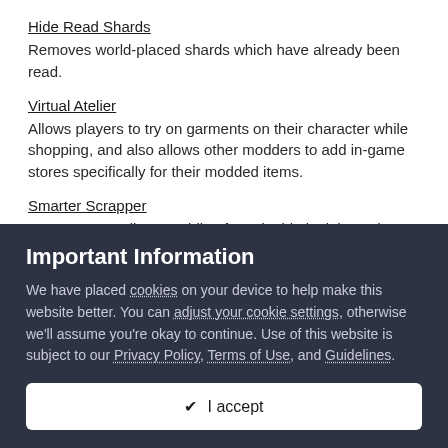Hide Read Shards
Removes world-placed shards which have already been read.
Virtual Atelier
Allows players to try on garments on their character while shopping, and also allows other modders to add in-game stores specifically for their modded items.
Smarter Scrapper
Prevents auto disassembling for valuable junk items by setting the upper price threshold for Scrapper perk logic.
Important Information
We have placed cookies on your device to help make this website better. You can adjust your cookie settings, otherwise we'll assume you're okay to continue. Use of this website is subject to our Privacy Policy, Terms of Use, and Guidelines.
✔ I accept